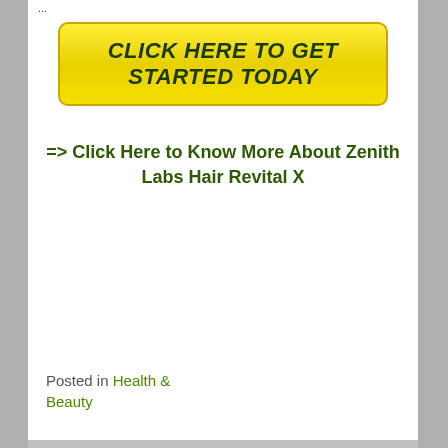[Figure (other): Yellow call-to-action button with text CLICK HERE TO GET STARTED TODAY in dark green bold italic uppercase font]
=> Click Here to Know More About Zenith Labs Hair Revital X
Posted in Health & Beauty